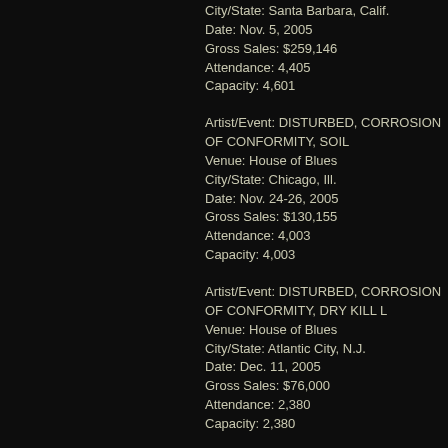City/State: Santa Barbara, Calif.
Date: Nov. 5, 2005
Gross Sales: $259,146
Attendance: 4,405
Capacity: 4,601
Artist/Event: DISTURBED, CORROSION OF CONFORMITY, SOIL
Venue: House of Blues
City/State: Chicago, Ill.
Date: Nov. 24-26, 2005
Gross Sales: $130,155
Attendance: 4,003
Capacity: 4,003
Artist/Event: DISTURBED, CORROSION OF CONFORMITY, DRY KILL L
Venue: House of Blues
City/State: Atlantic City, N.J.
Date: Dec. 11, 2005
Gross Sales: $76,000
Attendance: 2,380
Capacity: 2,380
Artist/Event: DISTURBED, CORROSION OF CONFORMITY, OPIATE FO
Venue: Uptown Theatre
City/State: Kansas City, Mo.
Date: Nov. 7, 2005
Gross Sales: $73,416
Attendance: 2,128
Capacity: 2,128
Artist/Event: BLACK LABEL SOCIETY, BRAND NEW SIN
Venue: Wiltern Theater
City/State: Los Angeles, Calif.
Date: Nov. 19, 2005
Gross Sales: $48,150
Attendance: 1,823
Capacity: 2,460